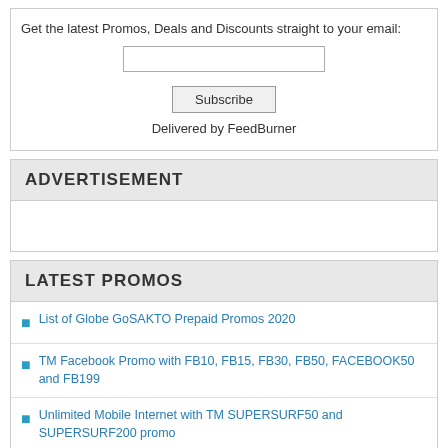Get the latest Promos, Deals and Discounts straight to your email:
Subscribe
Delivered by FeedBurner
ADVERTISEMENT
LATEST PROMOS
List of Globe GoSAKTO Prepaid Promos 2020
TM Facebook Promo with FB10, FB15, FB30, FB50, FACEBOOK50 and FB199
Unlimited Mobile Internet with TM SUPERSURF50 and SUPERSURF200 promo
TM EASYSURF Promo now with more Data and Freebies